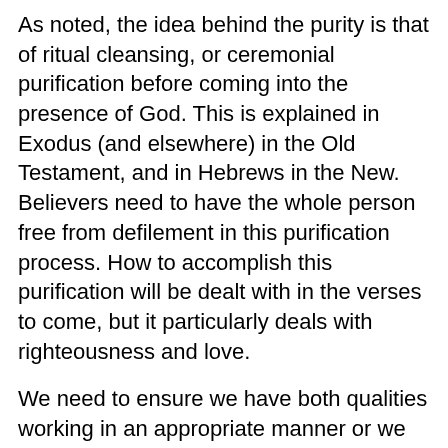As noted, the idea behind the purity is that of ritual cleansing, or ceremonial purification before coming into the presence of God. This is explained in Exodus (and elsewhere) in the Old Testament, and in Hebrews in the New. Believers need to have the whole person free from defilement in this purification process. How to accomplish this purification will be dealt with in the verses to come, but it particularly deals with righteousness and love.
We need to ensure we have both qualities working in an appropriate manner or we simply can't be pure in the way we need to be. Let us look to the words of the psalmist to see a portion of what's needed to please God –
“Who may ascend into the hill of the LORD? Or who may stand in His holy place?